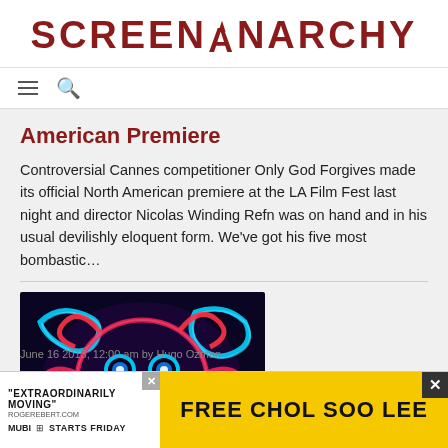SCREENANARCHY
American Premiere
Controversial Cannes competitioner Only God Forgives made its official North American premiere at the LA Film Fest last night and director Nicolas Winding Refn was on hand and in his usual devilishly eloquent form. We’ve got his five most bombastic…
[Figure (photo): Movie poster/artwork for Only God Forgives featuring colorful neon-style artwork with a stylized face/monster design in red and blue on dark background]
June 16 2013, 12:00 am by Hugo Ozman
[Figure (infographic): Advertisement banner: 'EXTRAORDINARILY MOVING' - ROGEREBERT.COM, FREE CHOL SOO LEE, MUBI STARTS FRIDAY]